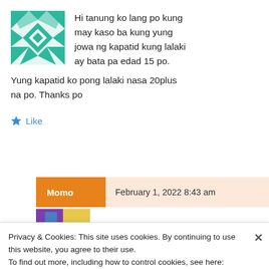Hi tanung ko lang po kung may kaso ba kung yung jowa ng kapatid kung lalaki ay bata pa edad 15 po. Yung kapatid ko pong lalaki nasa 20plus na po. Thanks po
Like
Momo  February 1, 2022 8:43 am
Privacy & Cookies: This site uses cookies. By continuing to use this website, you agree to their use.
To find out more, including how to control cookies, see here: Cookie Policy
Close and accept